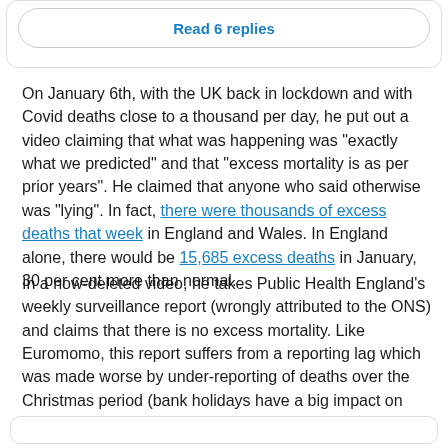Read 6 replies
On January 6th, with the UK back in lockdown and with Covid deaths close to a thousand per day, he put out a video claiming that what was happening was "exactly what we predicted" and that "excess mortality is as per prior years". He claimed that anyone who said otherwise was "lying". In fact, there were thousands of excess deaths that week in England and Wales. In England alone, there would be 15,685 excess deaths in January, 30 per cent more than normal.
In a now-deleted video, he takes Public Health England's weekly surveillance report (wrongly attributed to the ONS) and claims that there is no excess mortality. Like Euromomo, this report suffers from a reporting lag which was made worse by under-reporting of deaths over the Christmas period (bank holidays have a big impact on death registrations). In his video, it looked like this...